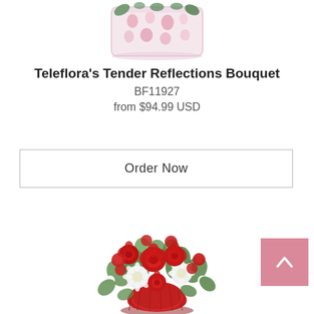[Figure (photo): Partial top view of a floral arrangement in a pink patterned mug/vase, cropped at top of page]
Teleflora's Tender Reflections Bouquet
BF11927
from $94.99 USD
Order Now
[Figure (photo): Red rose and white chrysanthemum bouquet arranged in a deep red ribbed glass vase, with green foliage]